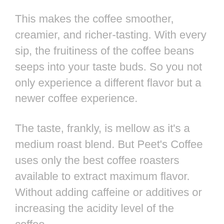This makes the coffee smoother, creamier, and richer-tasting. With every sip, the fruitiness of the coffee beans seeps into your taste buds. So you not only experience a different flavor but a newer coffee experience.
The taste, frankly, is mellow as it's a medium roast blend. But Peet's Coffee uses only the best coffee roasters available to extract maximum flavor. Without adding caffeine or additives or increasing the acidity level of the coffee.
This is the best coffee to buy for home. What do you think?